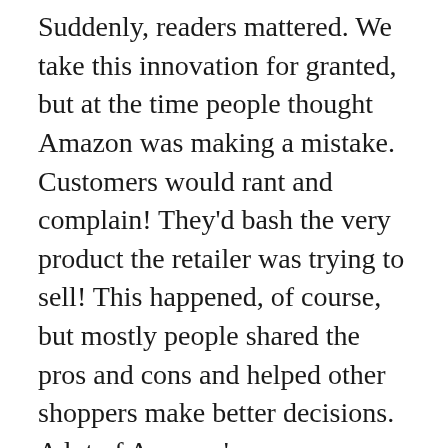Suddenly, readers mattered. We take this innovation for granted, but at the time people thought Amazon was making a mistake. Customers would rant and complain! They'd bash the very product the retailer was trying to sell! This happened, of course, but mostly people shared the pros and cons and helped other shoppers make better decisions. A lot of Amazon's success comes from this early trust in its users.
When Amazon launched the Kindle and allowed anyone to upload a book to its website, an even louder contingent of pundits would decry the decision. This would end bookselling as we know it, they said. It would destroy the book discovery